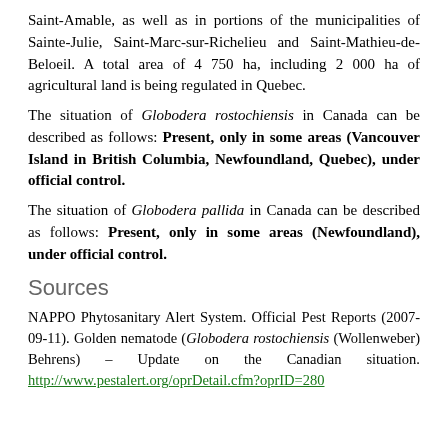Saint-Amable, as well as in portions of the municipalities of Sainte-Julie, Saint-Marc-sur-Richelieu and Saint-Mathieu-de-Beloeil. A total area of 4 750 ha, including 2 000 ha of agricultural land is being regulated in Quebec.
The situation of Globodera rostochiensis in Canada can be described as follows: Present, only in some areas (Vancouver Island in British Columbia, Newfoundland, Quebec), under official control.
The situation of Globodera pallida in Canada can be described as follows: Present, only in some areas (Newfoundland), under official control.
Sources
NAPPO Phytosanitary Alert System. Official Pest Reports (2007-09-11). Golden nematode (Globodera rostochiensis (Wollenweber) Behrens) – Update on the Canadian situation. http://www.pestalert.org/oprDetail.cfm?oprID=280